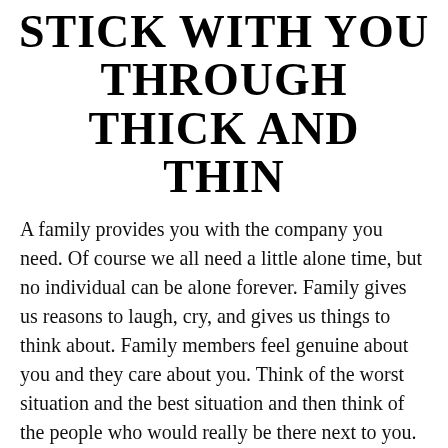STICK WITH YOU THROUGH THICK AND THIN
A family provides you with the company you need. Of course we all need a little alone time, but no individual can be alone forever. Family gives us reasons to laugh, cry, and gives us things to think about. Family members feel genuine about you and they care about you. Think of the worst situation and the best situation and then think of the people who would really be there next to you. Your family, for both. They may give you a hard time here or there, but at the end of the day, they're still right by your side.
♥ 24  ⚑ Report  Edit
Add a comment...